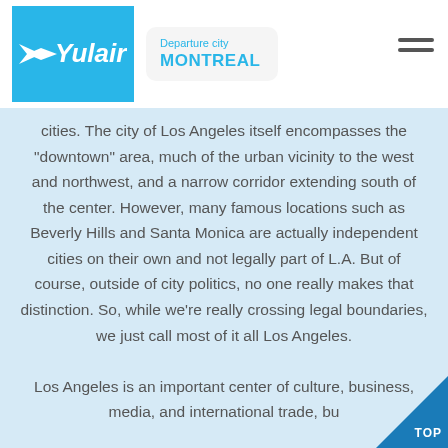[Figure (logo): Yulair airline logo — white arrow and text on blue background]
Departure city
MONTREAL
cities. The city of Los Angeles itself encompasses the "downtown" area, much of the urban vicinity to the west and northwest, and a narrow corridor extending south of the center. However, many famous locations such as Beverly Hills and Santa Monica are actually independent cities on their own and not legally part of L.A. But of course, outside of city politics, no one really makes that distinction. So, while we're really crossing legal boundaries, we just call most of it all Los Angeles.

Los Angeles is an important center of culture, business, media, and international trade, bu…